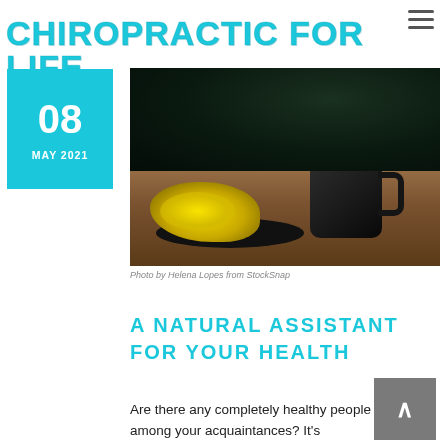CHIROPRACTIC FOR LIFE
08
MAY 2021
[Figure (photo): A dark mug on a wooden table with yellow chamomile flowers on a dark plate, dark background]
Photo by Helena Lopes from StockSnap
A NATURAL ASSISTANT FOR YOUR HEALTH
Are there any completely healthy people among your acquaintances? It's